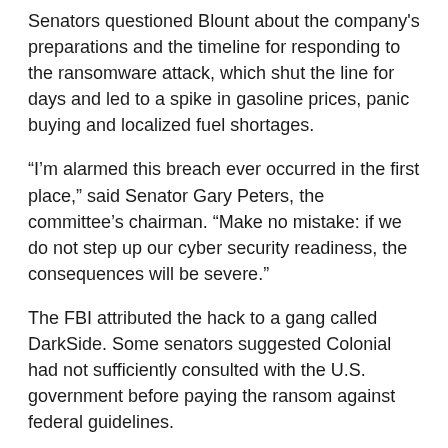Senators questioned Blount about the company's preparations and the timeline for responding to the ransomware attack, which shut the line for days and led to a spike in gasoline prices, panic buying and localized fuel shortages.
“I’m alarmed this breach ever occurred in the first place,” said Senator Gary Peters, the committee’s chairman. “Make no mistake: if we do not step up our cyber security readiness, the consequences will be severe.”
The FBI attributed the hack to a gang called DarkSide. Some senators suggested Colonial had not sufficiently consulted with the U.S. government before paying the ransom against federal guidelines.
Blount said he made the decision to pay ransom and to keep the payment as confidential as possible because of concern for security.
“It was our understanding that the decision was solely ours to make about whether to pay the ransom,” he said.
Blount said Colonial did not have a plan in place to prevent a